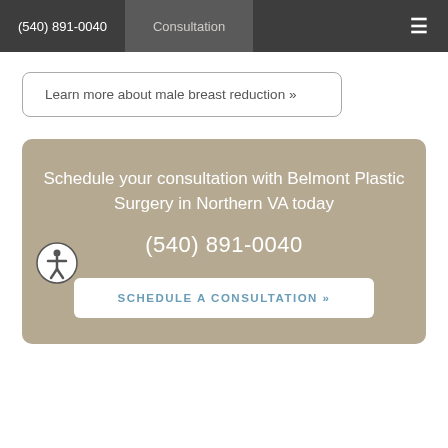(540) 891-0040  Consultation  ≡
Learn more about male breast reduction »
Schedule your consultation with Belmont Plastic Surgery in Northern VA today
(540) 891-0040
SCHEDULE A CONSULTATION »